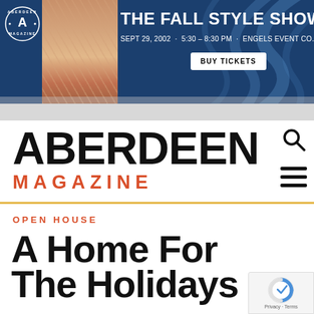[Figure (infographic): Aberdeen Magazine banner ad for The Fall Style Show. Dark navy blue background with swirl design, woman in salmon/peach blazer and floral dress on left, Aberdeen Magazine circular logo top left, event title THE FALL STYLE SHOW, date SEPT 29, 2002 · 5:30 – 8:30 PM · ENGELS EVENT CO., and BUY TICKETS button.]
[Figure (logo): Aberdeen Magazine logo: large bold black ABERDEEN text above smaller bold red/orange MAGAZINE text with wide letter spacing.]
OPEN HOUSE
A Home For The Holidays